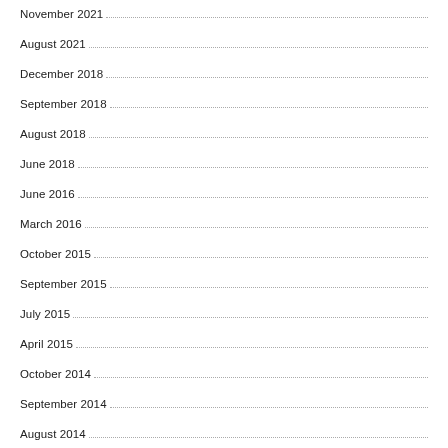November 2021
August 2021
December 2018
September 2018
August 2018
June 2018
June 2016
March 2016
October 2015
September 2015
July 2015
April 2015
October 2014
September 2014
August 2014